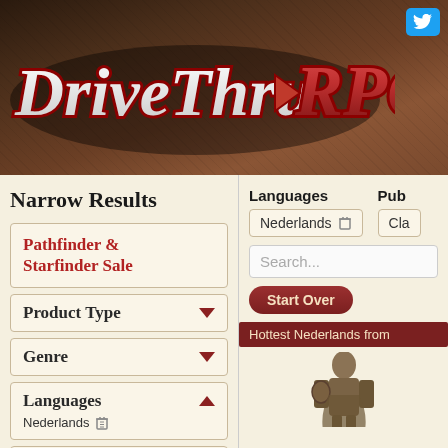[Figure (screenshot): DriveThruRPG website header banner with logo on dark brown textured background, Twitter icon top right]
Narrow Results
Pathfinder & Starfinder Sale
Product Type ▼
Genre ▼
Languages ▲
Nederlands 🗑
Publishers ▲
Languages
Pub
Nederlands 🗑
Cla
Search...
Start Over
Hottest Nederlands from
[Figure (illustration): Silhouette of a fantasy character with a shield, brownish gray tones]